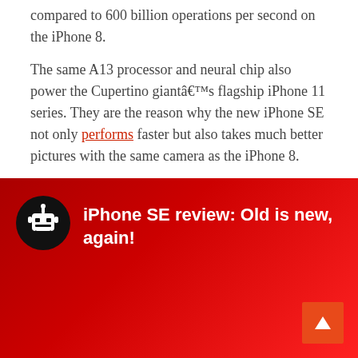compared to 600 billion operations per second on the iPhone 8.
The same A13 processor and neural chip also power the Cupertino giantâ€™s flagship iPhone 11 series. They are the reason why the new iPhone SE not only performs faster but also takes much better pictures with the same camera as the iPhone 8.
[Figure (other): Red gradient banner with robot/android icon in a black circle and white text reading 'iPhone SE review: Old is new, again!' plus a scroll-to-top button in the bottom right corner.]